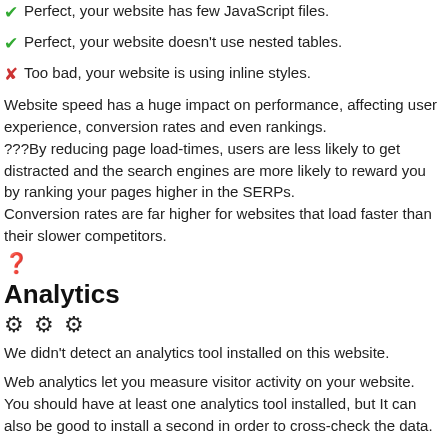✔ Perfect, your website has few JavaScript files.
✔ Perfect, your website doesn't use nested tables.
✘ Too bad, your website is using inline styles.
Website speed has a huge impact on performance, affecting user experience, conversion rates and even rankings.
???By reducing page load-times, users are less likely to get distracted and the search engines are more likely to reward you by ranking your pages higher in the SERPs.
Conversion rates are far higher for websites that load faster than their slower competitors.
❓
Analytics
⚙ ⚙ ⚙
We didn't detect an analytics tool installed on this website.
Web analytics let you measure visitor activity on your website.
You should have at least one analytics tool installed, but It can also be good to install a second in order to cross-check the data.